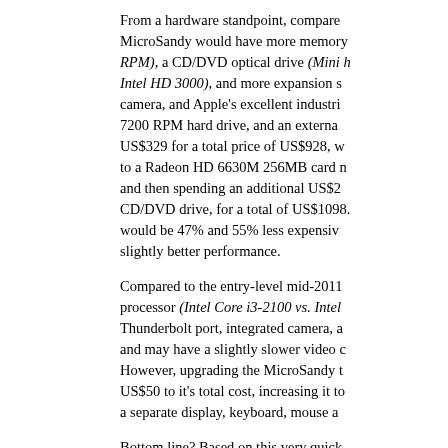From a hardware standpoint, compare... MicroSandy would have more memory... RPM), a CD/DVD optical drive (Mini h... Intel HD 3000), and more expansion s... camera, and Apple's excellent industri... 7200 RPM hard drive, and an externa... US$329 for a total price of US$928, w... to a Radeon HD 6630M 256MB card n... and then spending an additional US$2... CD/DVD drive, for a total of US$1098... would be 47% and 55% less expansiv... slightly better performance.
Compared to the entry-level mid-2011... processor (Intel Core i3-2100 vs. Intel... Thunderbolt port, integrated camera, a... and may have a slightly slower video c... However, upgrading the MicroSandy t... US$50 to it's total cost, increasing it to... a separate display, keyboard, mouse a...
Bottom line? Based on this very quick... Bridge hackintosh that has slightly (?)... Mini and is over 50% less expensive s...